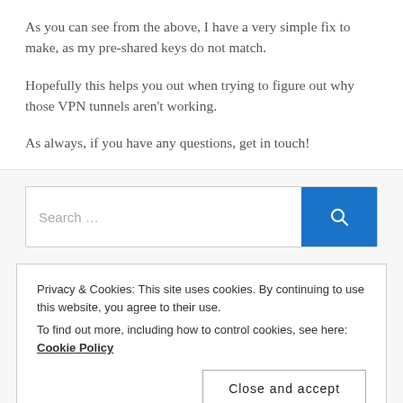As you can see from the above, I have a very simple fix to make, as my pre-shared keys do not match.
Hopefully this helps you out when trying to figure out why those VPN tunnels aren't working.
As always, if you have any questions, get in touch!
Search …
Privacy & Cookies: This site uses cookies. By continuing to use this website, you agree to their use.
To find out more, including how to control cookies, see here: Cookie Policy
Close and accept
My Tweets